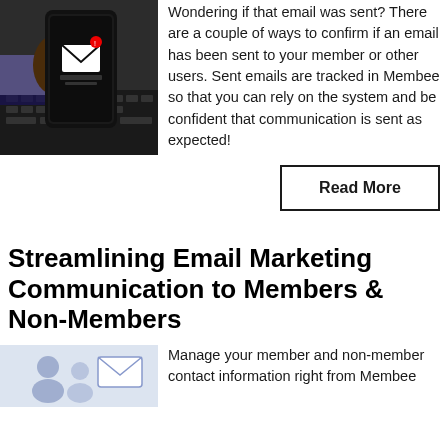[Figure (photo): A person holding a smartphone showing an email/message notification icon, with a laptop keyboard in the background.]
Wondering if that email was sent? There are a couple of ways to confirm if an email has been sent to your member or other users. Sent emails are tracked in Membee so that you can rely on the system and be confident that communication is sent as expected!
Read More
Streamlining Email Marketing Communication to Members & Non-Members
[Figure (illustration): An illustration showing email/contact icons with people silhouettes, representing member and non-member communication.]
Manage your member and non-member contact information right from Membee